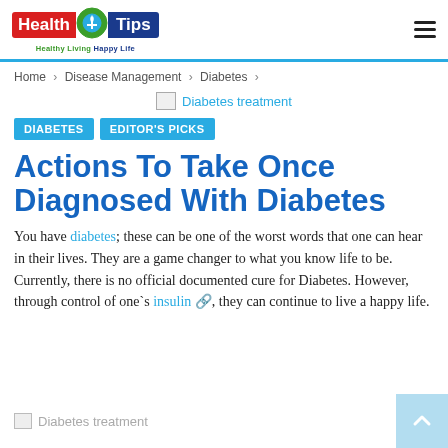Health Tips | Healthy Living Happy Life
Home > Disease Management > Diabetes >
[Figure (photo): Broken image placeholder labeled 'Diabetes treatment']
DIABETES   EDITOR'S PICKS
Actions To Take Once Diagnosed With Diabetes
You have diabetes; these can be one of the worst words that one can hear in their lives. They are a game changer to what you know life to be. Currently, there is no official documented cure for Diabetes. However, through control of one`s insulin, they can continue to live a happy life.
[Figure (photo): Broken image placeholder labeled 'Diabetes treatment']